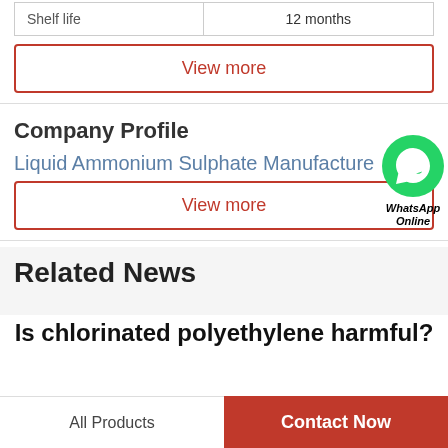| Shelf life | 12 months |
View more
Company Profile
Liquid Ammonium Sulphate Manufacture
View more
Related News
Is chlorinated polyethylene harmful?
All Products | Contact Now